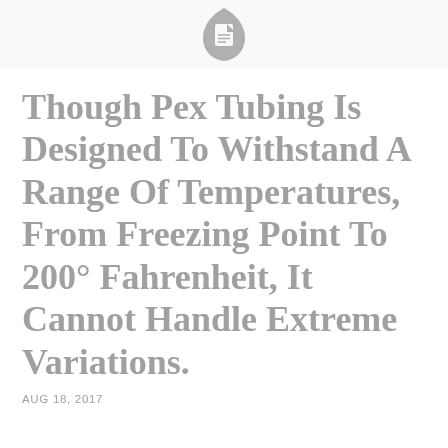[Figure (logo): Document page icon — a rounded shield/teardrop shape containing a document/file icon, rendered in gray]
Though Pex Tubing Is Designed To Withstand A Range Of Temperatures, From Freezing Point To 200° Fahrenheit, It Cannot Handle Extreme Variations.
AUG 18, 2017